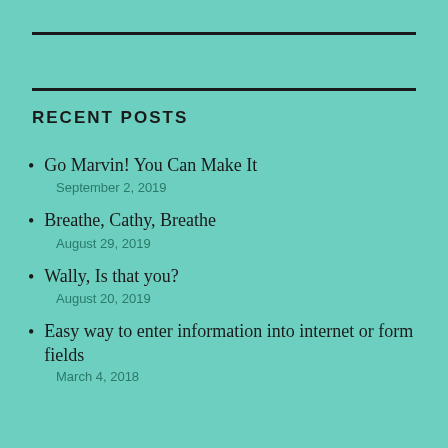RECENT POSTS
Go Marvin! You Can Make It
September 2, 2019
Breathe, Cathy, Breathe
August 29, 2019
Wally, Is that you?
August 20, 2019
Easy way to enter information into internet or form fields
March 4, 2018